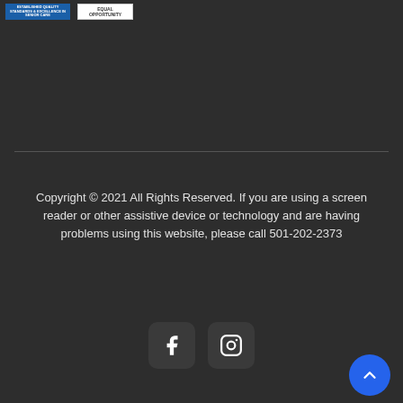[Figure (logo): Two certification/compliance badge logos at top left — a blue badge and an Equal Opportunity badge]
Copyright © 2021 All Rights Reserved. If you are using a screen reader or other assistive device or technology and are having problems using this website, please call 501-202-2373
[Figure (other): Facebook and Instagram social media icon buttons with rounded square dark backgrounds]
[Figure (other): Back to top button — circular blue button with upward chevron arrow, bottom right corner]